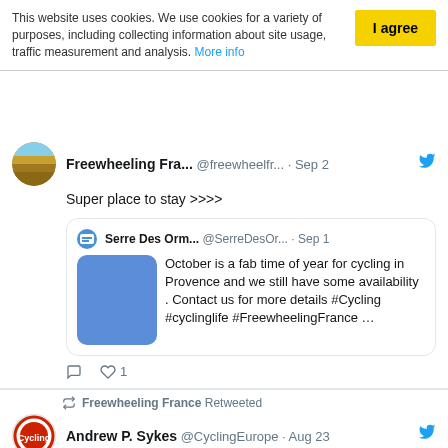This website uses cookies. We use cookies for a variety of purposes, including collecting information about site usage, traffic measurement and analysis. More info
[Figure (screenshot): Twitter/social media feed screenshot showing tweets from Freewheeling France and a retweet from Andrew P. Sykes about The Cycling Europe Podcast]
Freewheeling Fra... @freewheelfr... · Sep 2 Super place to stay >>>>
Serre Des Orm... @SerreDesOr... · Sep 1 October is a fab time of year for cycling in Provence and we still have some availability . Contact us for more details #Cycling #cyclinglife #FreewheelingFrance …
Freewheeling France Retweeted
Andrew P. Sykes @CyclingEurope · Aug 23 The new episode of The Cycling Europe Podcast is now available!